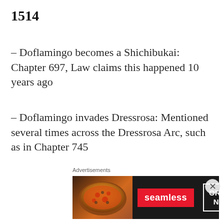1514
– Doflamingo becomes a Shichibukai: Chapter 697, Law claims this happened 10 years ago
– Doflamingo invades Dressrosa: Mentioned several times across the Dressrosa Arc, such as in Chapter 745
– Otohime's death: Chapter 625, Shirahoshi is six. Fukaboshi mentions the Reverie in two
Advertisements
[Figure (other): Seamless food delivery advertisement banner showing pizza image, Seamless logo in red, and ORDER NOW button]